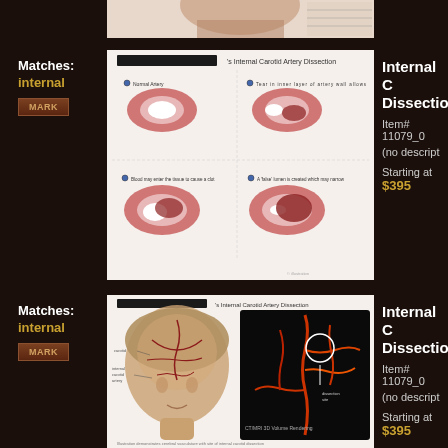[Figure (illustration): Partial view of a medical illustration at the top of the page (cropped)]
Matches: internal
[Figure (illustration): Internal Carotid Artery Dissection diagram showing four stages of artery cross-sections with blood flow]
Internal Carotid Artery Dissection
Item# 11079_0
(no description)
Starting at $395
Matches: internal
[Figure (illustration): Internal Carotid Artery Dissection showing brain vasculature anatomy from anterior view alongside a CT/MRI angiography scan]
Internal Carotid Artery Dissection
Item# 11079_0
(no description)
Starting at $395